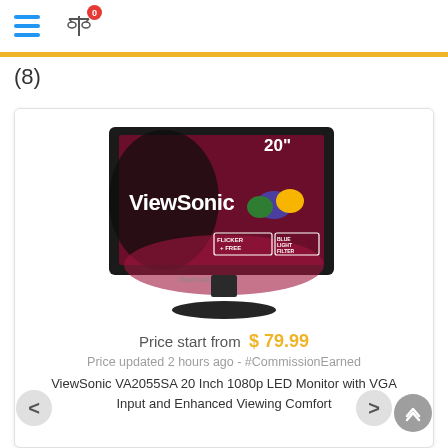(hamburger menu icon) (compare/scale icon with badge 0)
(8)
[Figure (photo): ViewSonic VA2055SA 20 Inch monitor product photo showing the monitor with a dark red/maroon decorative background, ViewSonic logo and three colorful birds on screen, displaying '20"' in top right, 'FLICKER FREE' and 'BLUE LIGHT FILTER' badges in the lower right of the screen]
Price start from  $ 79.99
Price updated 2 hours ago - #CommissionEarned
ViewSonic VA2055SA 20 Inch 1080p LED Monitor with VGA Input and Enhanced Viewing Comfort